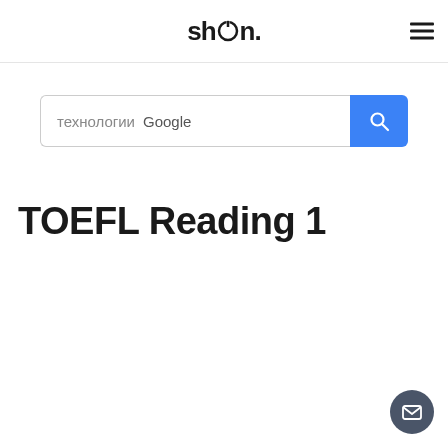shOn.
[Figure (other): Search bar with text 'технологии Google' and a blue search button with magnifying glass icon]
TOEFL Reading 1